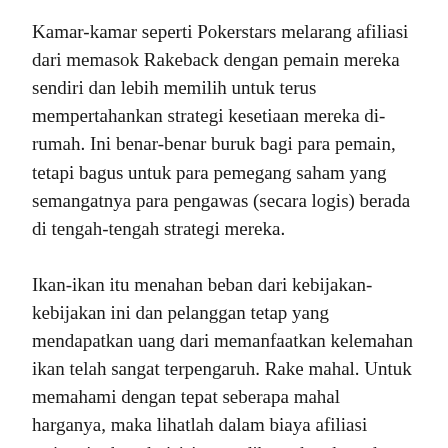Kamar-kamar seperti Pokerstars melarang afiliasi dari memasok Rakeback dengan pemain mereka sendiri dan lebih memilih untuk terus mempertahankan strategi kesetiaan mereka di-rumah. Ini benar-benar buruk bagi para pemain, tetapi bagus untuk para pemegang saham yang semangatnya para pengawas (secara logis) berada di tengah-tengah strategi mereka.
Ikan-ikan itu menahan beban dari kebijakan-kebijakan ini dan pelanggan tetap yang mendapatkan uang dari memanfaatkan kelemahan ikan telah sangat terpengaruh. Rake mahal. Untuk memahami dengan tepat seberapa mahal harganya, maka lihatlah dalam biaya afiliasi setiap tingkat akuisisi yang dibayarkan kepada afiliasi atas daftar pemain. Maka i...